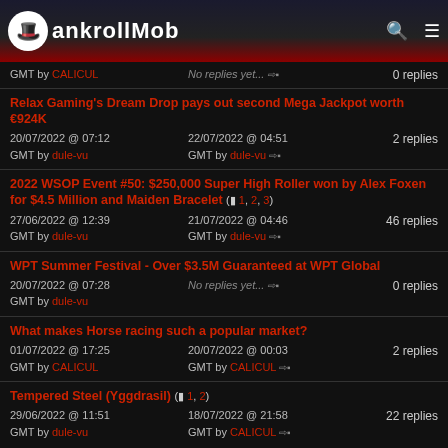The BankrollMob
No replies yet... 0 replies | GMT by CALICUL
Relax Gaming's Dream Drop pays out second Mega Jackpot worth €924K | 20/07/2022 @ 07:12 GMT by dule-vu | 22/07/2022 @ 04:51 GMT by dule-vu | 2 replies
2022 WSOP Event #50: $250,000 Super High Roller won by Alex Foxen for $4.5 Million and Maiden Bracelet (1, 2, 3) | 27/06/2022 @ 12:39 GMT by dule-vu | 21/07/2022 @ 04:46 GMT by dule-vu | 46 replies
WPT Summer Festival - Over $3.5M Guaranteed at WPT Global | 20/07/2022 @ 07:28 GMT by dule-vu | No replies yet... | 0 replies
What makes Horse racing such a popular market? | 01/07/2022 @ 17:25 GMT by CALICUL | 20/07/2022 @ 00:03 GMT by CALICUL | 2 replies
Tempered Steel (Yggdrasil) (1, 2) | 29/06/2022 @ 11:51 GMT by dule-vu | 18/07/2022 @ 21:58 GMT by CALICUL | 22 replies